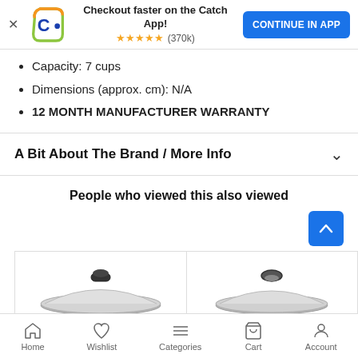[Figure (screenshot): Catch app promotional banner with logo, star rating (370k), and 'Continue in App' button]
Capacity: 7 cups
Dimensions (approx. cm): N/A
12 MONTH MANUFACTURER WARRANTY
A Bit About The Brand / More Info
People who viewed this also viewed
[Figure (photo): Two product images of stainless steel pot lids shown side by side]